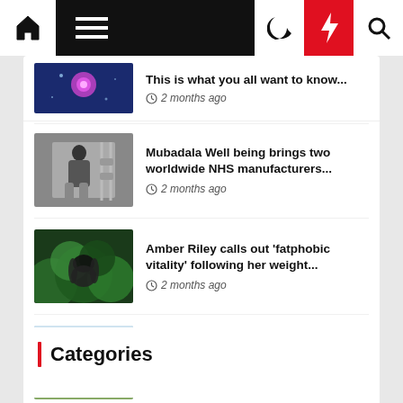Navigation bar with home, menu, moon, bolt, search icons
This is what you all want to know... · 2 months ago
Mubadala Well being brings two worldwide NHS manufacturers... · 2 months ago
Amber Riley calls out 'fatphobic vitality' following her weight... · 2 months ago
Menopause weight reduction: Meals to keep away from... · 2 months ago
Categories